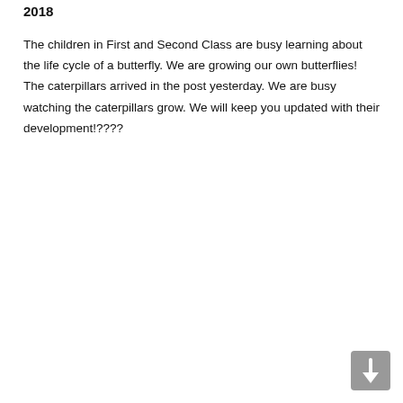2018
The children in First and Second Class are busy learning about the life cycle of a butterfly. We are growing our own butterflies! The caterpillars arrived in the post yesterday. We are busy watching the caterpillars grow. We will keep you updated with their development!????